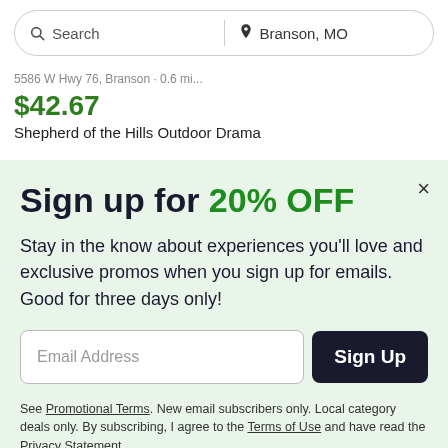[Figure (screenshot): Search bar with 'Search' on left and 'Branson, MO' location on right]
$42.67
Shepherd of the Hills Outdoor Drama
Sign up for 20% OFF
Stay in the know about experiences you'll love and exclusive promos when you sign up for emails. Good for three days only!
Email Address
Sign Up
See Promotional Terms. New email subscribers only. Local category deals only. By subscribing, I agree to the Terms of Use and have read the Privacy Statement